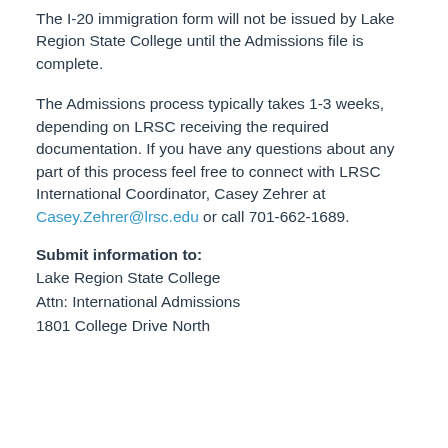The I-20 immigration form will not be issued by Lake Region State College until the Admissions file is complete.
The Admissions process typically takes 1-3 weeks, depending on LRSC receiving the required documentation. If you have any questions about any part of this process feel free to connect with LRSC International Coordinator, Casey Zehrer at Casey.Zehrer@lrsc.edu or call 701-662-1689.
Submit information to:
Lake Region State College
Attn: International Admissions
1801 College Drive North